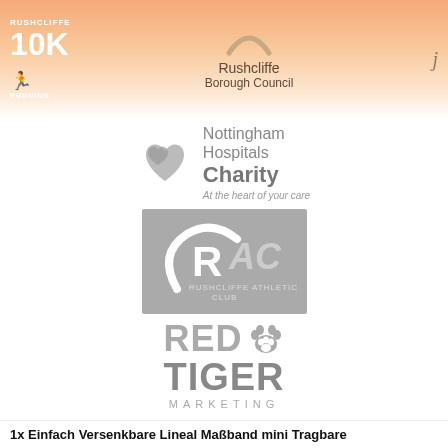[Figure (logo): Rushcliffe 10K Running logo — white text on peach/salmon gradient banner, top left]
[Figure (logo): Rushcliffe Borough Council logo — swoosh above text, center top banner]
[Figure (logo): Decorative 'j' letter logo, top right of banner]
[Figure (logo): Nottingham Hospitals Charity logo — grey heart icon with 'Nottingham Hospitals Charity' text and tagline 'At the heart of your care']
[Figure (logo): RAC (Rushcliffe Athletic Club) logo — grey rectangle with RAC initials and curved swoosh]
[Figure (logo): Red Tiger Marketing logo — bold grey text 'RED' with paw print, 'TIGER', 'MARKETING' in letter-spaced caps]
[Figure (logo): Her Spirit logo — bold grey 'HER SPIRIT' text with 'MIND | BODY | FUEL' tagline]
1x Einfach Versenkbare Lineal Maßband mini Tragbare